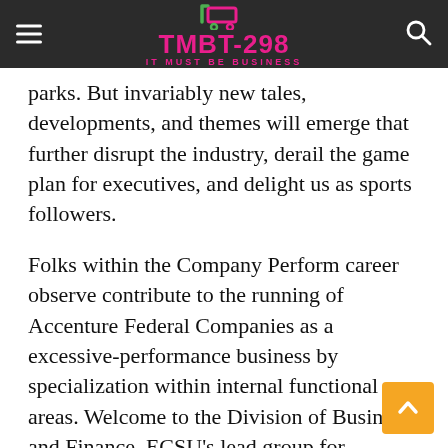TMBT-298 IT MUST BE BUSINESS
parks. But invariably new tales, developments, and themes will emerge that further disrupt the industry, derail the game plan for executives, and delight us as sports followers.
Folks within the Company Perform career observe contribute to the running of Accenture Federal Companies as a excessive-performance business by specialization within internal functional areas. Welcome to the Division of Business and Finance, ECSU's lead group for providing regular business and financial assist to the college. JT Morris Legislation represents and counsels social media builders and clients, data and content material publishers and distributors, interactive leisure creators, software program builders, and totally